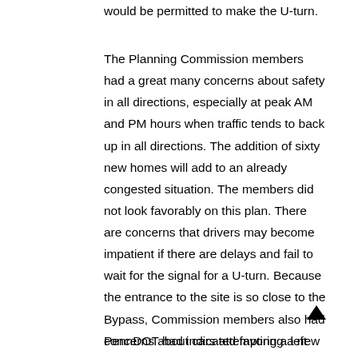completion of construction. Only passenger vehicles would be permitted to make the U-turn.
The Planning Commission members had a great many concerns about safety in all directions, especially at peak AM and PM hours when traffic tends to back up in all directions. The addition of sixty new homes will add to an already congested situation. The members did not look favorably on this plan. There are concerns that drivers may become impatient if there are delays and fail to wait for the signal for a U-turn. Because the entrance to the site is so close to the Bypass, Commission members also had concerns about cars attempting a left turn into the site and cars exiting the site as traffic proceeds from the Bypass to Buck Road at higher speeds.
PennDOT had indicated favoring a new access through